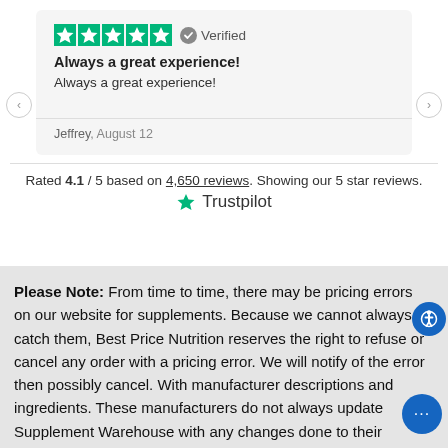[Figure (other): Five green star rating icons followed by a verified badge with text 'Verified']
Always a great experience!
Always a great experience!
Jeffrey, August 12
Rated 4.1 / 5 based on 4,650 reviews. Showing our 5 star reviews.
[Figure (logo): Trustpilot logo with green star]
Please Note: From time to time, there may be pricing errors on our website for supplements. Because we cannot always catch them, Best Price Nutrition reserves the right to refuse or cancel any order with a pricing error. We will notify of the error then possibly cancel. With manufacturer descriptions and ingredients. These manufacturers do not always update Supplement Warehouse with any changes done to their products